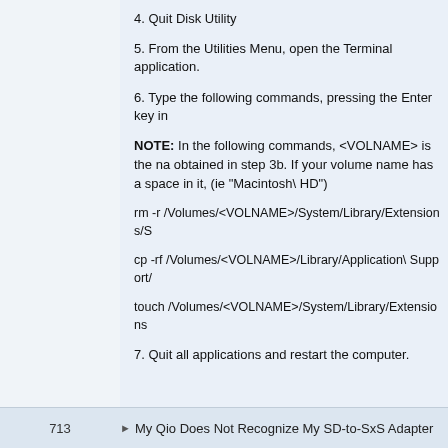4. Quit Disk Utility
5. From the Utilities Menu, open the Terminal application.
6. Type the following commands, pressing the Enter key in
NOTE: In the following commands, <VOLNAME> is the na obtained in step 3b. If your volume name has a space in it, (ie "Macintosh\ HD")
rm -r /Volumes/<VOLNAME>/System/Library/Extensions/S
cp -rf /Volumes/<VOLNAME>/Library/Application\ Support/
touch /Volumes/<VOLNAME>/System/Library/Extensions
7. Quit all applications and restart the computer.
713   ► My Qio Does Not Recognize My SD-to-SxS Adapter